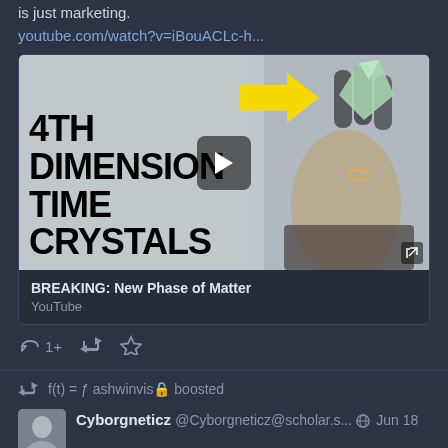is just marketing.
youtube.com/watch?v=iBouACLc-h...
[Figure (screenshot): YouTube video thumbnail showing text '4th DIMENSION TIME CRYSTALS' with a yellow arrow pointing to a hand holding a crystal, with a play button overlay]
BREAKING: New Phase of Matter
YouTube
1+
f(t) = ƒ ashwinvis🔒 boosted
Cyborgneticz @Cyborgneticz@scholar.s... 🌐 Jun 18